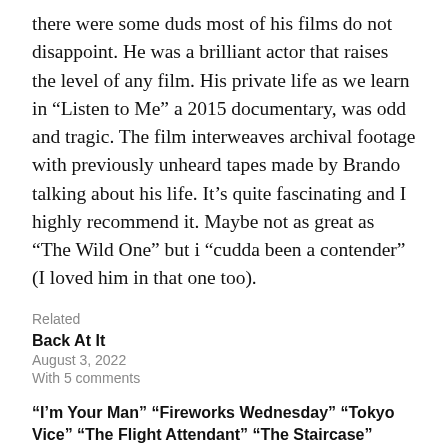there were some duds most of his films do not disappoint. He was a brilliant actor that raises the level of any film. His private life as we learn in “Listen to Me” a 2015 documentary, was odd and tragic. The film interweaves archival footage with previously unheard tapes made by Brando talking about his life. It’s quite fascinating and I highly recommend it. Maybe not as great as “The Wild One” but i “cudda been a contender” (I loved him in that one too).
Related
Back At It
August 3, 2022
With 5 comments
“I’m Your Man” “Fireworks Wednesday” “Tokyo Vice” “The Flight Attendant” “The Staircase” “Hacks” “Lincoln Lawyer”
June 3, 2022
With 1 comment